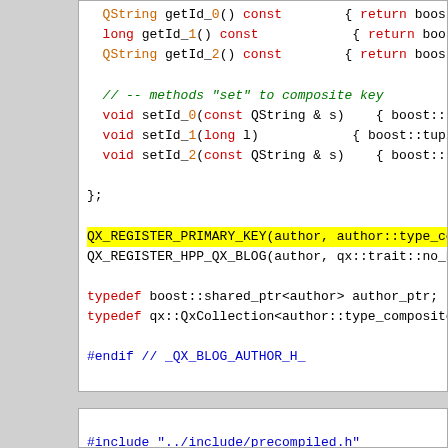[Figure (screenshot): Source code screenshot showing C++ class methods including getId_0, getId_1, getId_2, setId_0, setId_1, setId_2, QX_REGISTER_PRIMARY_KEY, QX_REGISTER_HPP_QX_BLOG macros, typedef statements, and #endif directive. Second code box shows #include statements.]